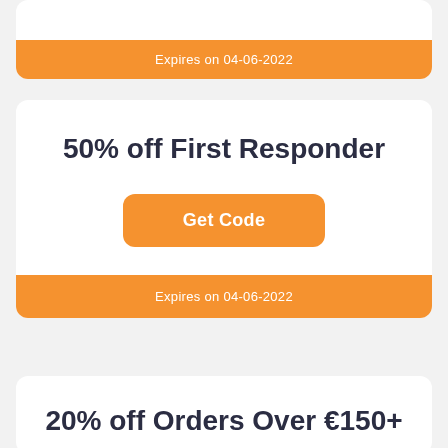Expires on 04-06-2022
50% off First Responder
Get Code
Expires on 04-06-2022
20% off Orders Over €150+